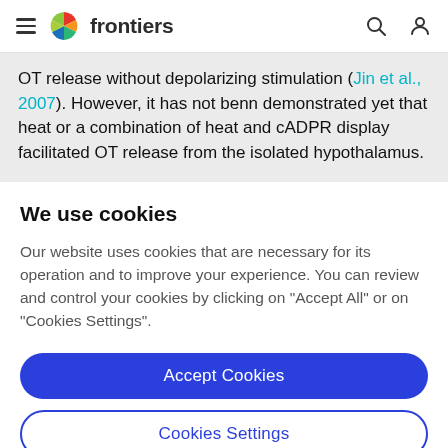frontiers
OT release without depolarizing stimulation (Jin et al., 2007). However, it has not benn demonstrated yet that heat or a combination of heat and cADPR display facilitated OT release from the isolated hypothalamus.
We use cookies
Our website uses cookies that are necessary for its operation and to improve your experience. You can review and control your cookies by clicking on "Accept All" or on "Cookies Settings".
Accept Cookies
Cookies Settings